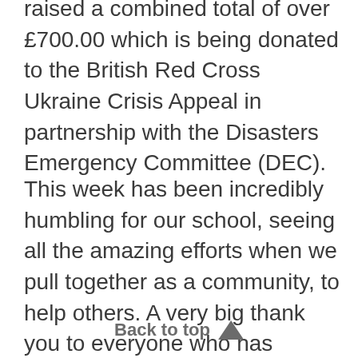raised a combined total of over £700.00 which is being donated to the British Red Cross Ukraine Crisis Appeal in partnership with the Disasters Emergency Committee (DEC).
This week has been incredibly humbling for our school, seeing all the amazing efforts when we pull together as a community, to help others. A very big thank you to everyone who has donated items for our Ukraine Appeal, we have received an incredible amount of donations!! A big thank you to Bigjigs Toys who are supporting this event and delivering all donated items to the Ukraine borders.